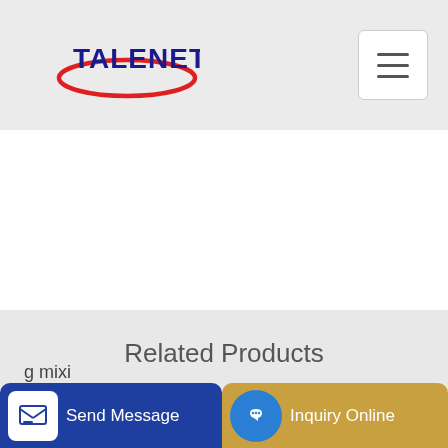[Figure (logo): TALENET logo with red ellipse and blue bold text]
Related Products
hzs60 batching plant price in pakistan 6
25 m³ h concrete mixing plant for sale in Nueva Ecija Mobile
g mixi
Send Message
Inquiry Online